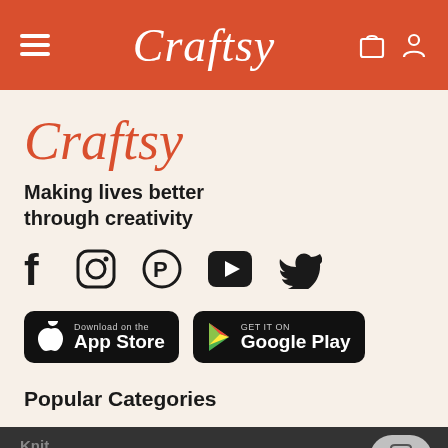Craftsy
[Figure (logo): Craftsy logo in orange script font]
Making lives better through creativity
[Figure (infographic): Social media icons: Facebook, Instagram, Pinterest, YouTube, Twitter]
[Figure (screenshot): Download on the App Store button and GET IT ON Google Play button]
Popular Categories
BECOME A MEMBER